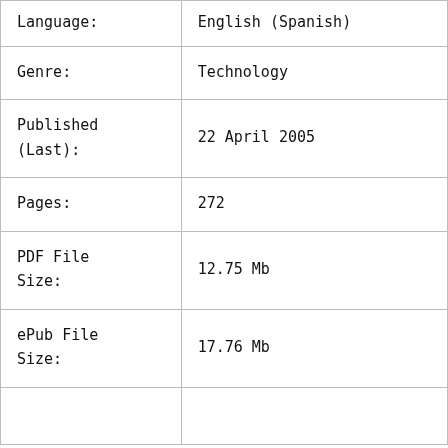| Language: | English (Spanish) |
| Genre: | Technology |
| Published
(Last): | 22 April 2005 |
| Pages: | 272 |
| PDF File
Size: | 12.75 Mb |
| ePub File
Size: | 17.76 Mb |
|  |  |